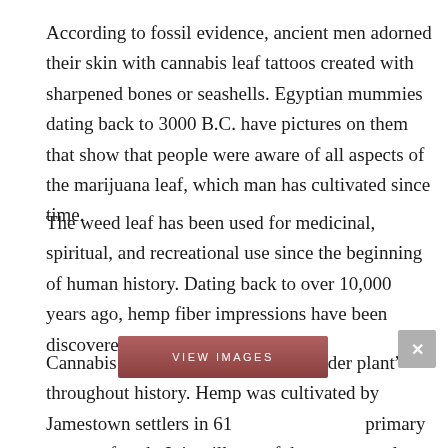According to fossil evidence, ancient men adorned their skin with cannabis leaf tattoos created with sharpened bones or seashells. Egyptian mummies dating back to 3000 B.C. have pictures on them that show that people were aware of all aspects of the marijuana leaf, which man has cultivated since time.
The weed leaf has been used for medicinal, spiritual, and recreational use since the beginning of human history. Dating back to over 10,000 years ago, hemp fiber impressions have been discovered on Chinese pottery!
Cannabis has continued to be a “wonder plant” throughout history. Hemp was cultivated by Jamestown settlers in 161[...] primary source of each. It is still one of the most popular illicit